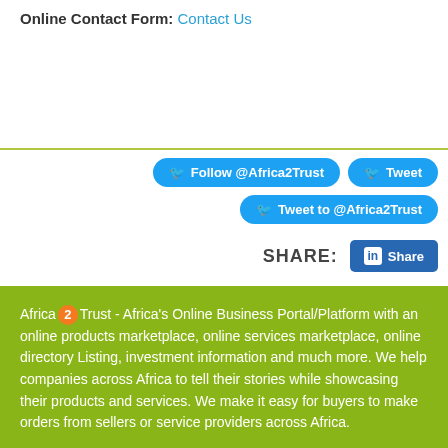Online Contact Form: Contact Us
[Figure (infographic): Twitter follow and tweet buttons, and LinkedIn share button]
Africa 2 Trust - Africa's Online Business Portal/Platform with an online products marketplace, online services marketplace, online directory Listing, investment information and much more. We help companies across Africa to tell their stories while showcasing their products and services. We make it easy for buyers to make orders from sellers or service providers across Africa.